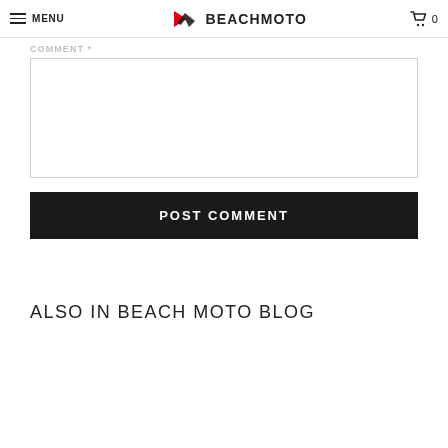MENU | BEACHMOTO | 0
COMMENT *
[Figure (screenshot): Empty comment text area input box]
POST COMMENT
ALSO IN BEACH MOTO BLOG